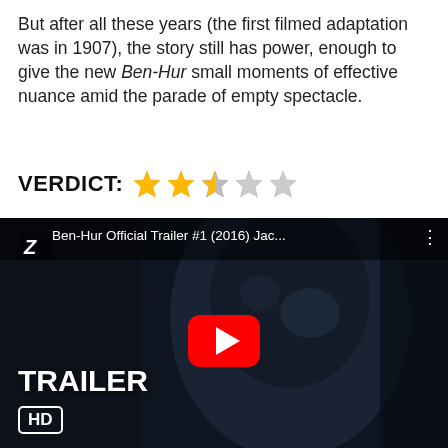But after all these years (the first filmed adaptation was in 1907), the story still has power, enough to give the new Ben-Hur small moments of effective nuance amid the parade of empty spectacle.
VERDICT: ★★★☆☆ (2.5 out of 5 stars)
[Figure (screenshot): YouTube video thumbnail for Ben-Hur Official Trailer #1 (2016) with play button overlay, 'TRAILER' text, and 'HD' badge. Dark cinematic still of a long-haired bearded man.]